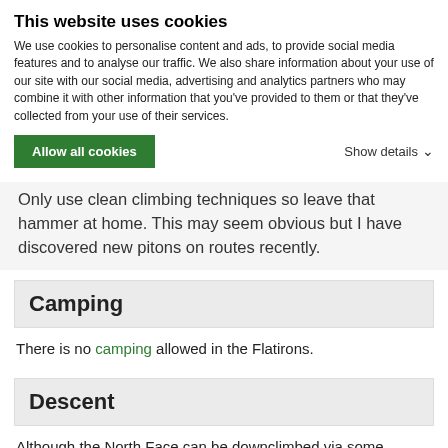This website uses cookies
We use cookies to personalise content and ads, to provide social media features and to analyse our traffic. We also share information about your use of our site with our social media, advertising and analytics partners who may combine it with other information that you've provided to them or that they've collected from your use of their services.
Allow all cookies   Show details
Only use clean climbing techniques so leave that hammer at home. This may seem obvious but I have discovered new pitons on routes recently.
Camping
There is no camping allowed in the Flatirons.
Descent
Although the North Face can be downclimbed via some licheny 5.2, it makes more sense to make an easy rappel. Sling a large block and make a simple 60 foot rappel.